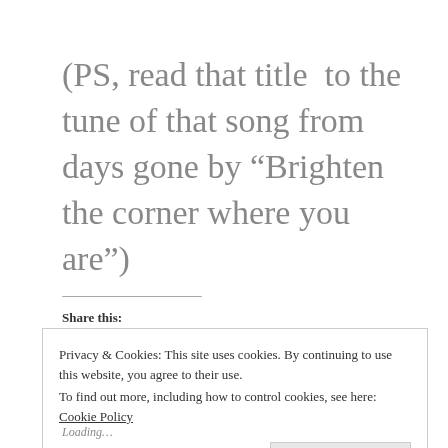(PS, read that title  to the tune of that song from days gone by “Brighten the corner where you are”)
Share this:
Privacy & Cookies: This site uses cookies. By continuing to use this website, you agree to their use.
To find out more, including how to control cookies, see here: Cookie Policy
Close and accept
Loading…